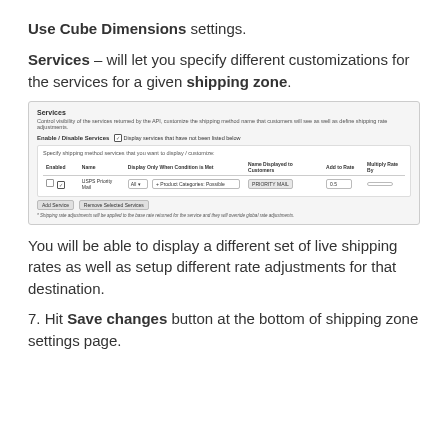Use Cube Dimensions settings.
Services – will let you specify different customizations for the services for a given shipping zone.
[Figure (screenshot): Screenshot of the Services settings panel showing Enable/Disable Services, a table with columns Enabled, Name, Display Only When Condition is Met, Name Displayed to Customers, Add to Rate, Multiply Rate By, with a row for USPS Priority Mail, and Add Service / Remove Selected Service buttons.]
You will be able to display a different set of live shipping rates as well as setup different rate adjustments for that destination.
7. Hit Save changes button at the bottom of shipping zone settings page.